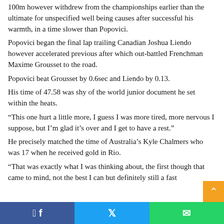100m however withdrew from the championships earlier than the ultimate for unspecified well being causes after successful his warmth, in a time slower than Popovici.
Popovici began the final lap trailing Canadian Joshua Liendo however accelerated previous after which out-battled Frenchman Maxime Grousset to the road.
Popovici beat Grousset by 0.6sec and Liendo by 0.13.
His time of 47.58 was shy of the world junior document he set within the heats.
“This one hurt a little more, I guess I was more tired, more nervous I suppose, but I’m glad it’s over and I get to have a rest.”
He precisely matched the time of Australia’s Kyle Chalmers who was 17 when he received gold in Rio.
“That was exactly what I was thinking about, the first though that came to mind, not the best I can but definitely still a fast
Facebook | Twitter | WhatsApp